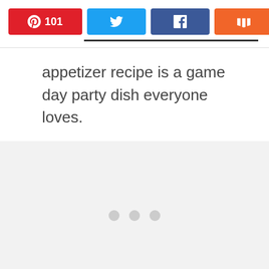[Figure (screenshot): Social share bar with Pinterest (101), Twitter, Facebook, and Mix buttons, plus share count showing 101 SHARES]
appetizer recipe is a game day party dish everyone loves.
[Figure (other): Gray advertisement placeholder area with three dots indicator]